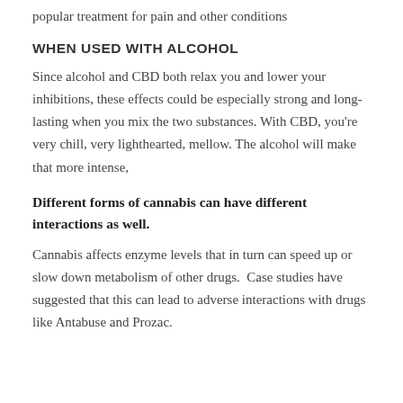popular treatment for pain and other conditions
WHEN USED WITH ALCOHOL
Since alcohol and CBD both relax you and lower your inhibitions, these effects could be especially strong and long-lasting when you mix the two substances. With CBD, you're very chill, very lighthearted, mellow. The alcohol will make that more intense,
Different forms of cannabis can have different interactions as well.
Cannabis affects enzyme levels that in turn can speed up or slow down metabolism of other drugs.  Case studies have suggested that this can lead to adverse interactions with drugs like Antabuse and Prozac.